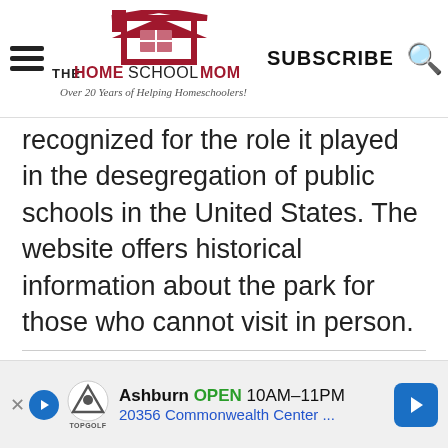THE HOMESCHOOL MOM — Over 20 Years of Helping Homeschoolers! | SUBSCRIBE
recognized for the role it played in the desegregation of public schools in the United States. The website offers historical information about the park for those who cannot visit in person.
The Mosaic Templars Cultural Center
Arkansas's state funded museum dedicated to the story of African American life and business. It fo... int...
[Figure (other): Advertisement banner: Topgolf Ashburn OPEN 10AM-11PM, 20356 Commonwealth Center...]